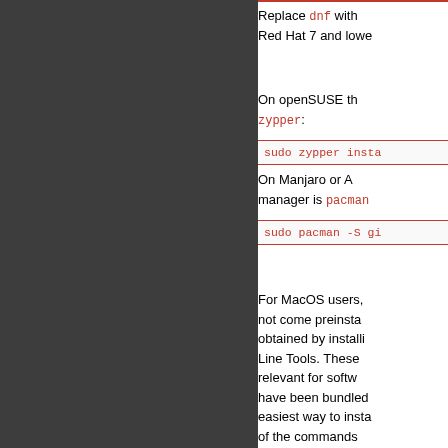Replace dnf with yum for Red Hat 7 and lower.
On openSUSE the package manager is zypper:
sudo zypper insta...
On Manjaro or Arch the package manager is pacman
sudo pacman -S gi...
For MacOS users, git does not come preinstalled but can be obtained by installing the Command Line Tools. These tools are relevant for software that may have been bundled... easiest way to install... of the commands...